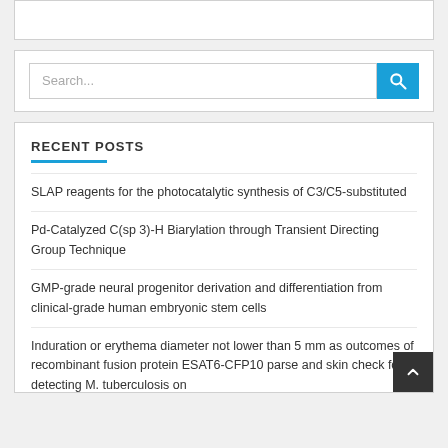[Figure (screenshot): Top white bar area (partial UI element)]
Search...
RECENT POSTS
SLAP reagents for the photocatalytic synthesis of C3/C5-substituted
Pd-Catalyzed C(sp 3)-H Biarylation through Transient Directing Group Technique
GMP-grade neural progenitor derivation and differentiation from clinical-grade human embryonic stem cells
Induration or erythema diameter not lower than 5 mm as outcomes of recombinant fusion protein ESAT6-CFP10 parse and skin check for detecting M. tuberculosis on